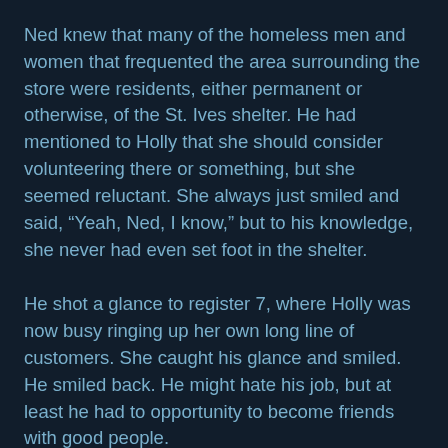Ned knew that many of the homeless men and women that frequented the area surrounding the store were residents, either permanent or otherwise, of the St. Ives shelter. He had mentioned to Holly that she should consider volunteering there or something, but she seemed reluctant. She always just smiled and said, “Yeah, Ned, I know,” but to his knowledge, she never had even set foot in the shelter.
He shot a glance to register 7, where Holly was now busy ringing up her own long line of customers. She caught his glance and smiled. He smiled back. He might hate his job, but at least he had to opportunity to become friends with good people.
“Thanks a lot, Ned. I’ll see you next week.”